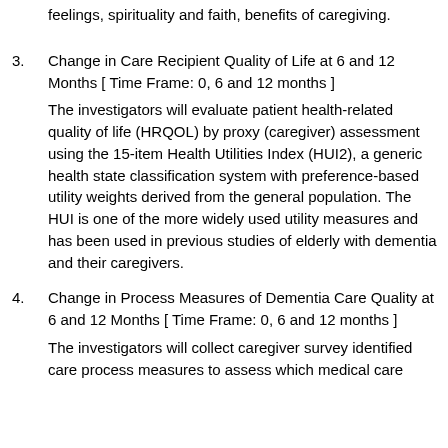feelings, spirituality and faith, benefits of caregiving.
3. Change in Care Recipient Quality of Life at 6 and 12 Months [ Time Frame: 0, 6 and 12 months ]
The investigators will evaluate patient health-related quality of life (HRQOL) by proxy (caregiver) assessment using the 15-item Health Utilities Index (HUI2), a generic health state classification system with preference-based utility weights derived from the general population. The HUI is one of the more widely used utility measures and has been used in previous studies of elderly with dementia and their caregivers.
4. Change in Process Measures of Dementia Care Quality at 6 and 12 Months [ Time Frame: 0, 6 and 12 months ]
The investigators will collect caregiver survey identified care process measures to assess which medical care processes that are specific to dementia care and